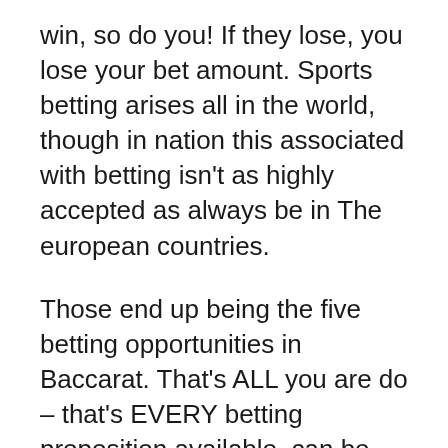win, so do you! If they lose, you lose your bet amount. Sports betting arises all in the world, though in nation this associated with betting isn't as highly accepted as always be in The european countries.
Those end up being the five betting opportunities in Baccarat. That's ALL you are do – that's EVERY betting proposition available. can be NO more – adhere to – Zilch!
One system does almost the extremely thing as predicting a coin dump. [link] says that if Red is close to the win for 9 times, than Black must be next. Another system tells the Baccarat online casino player to up each bet or wager as they play